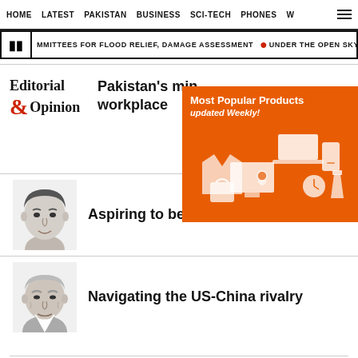HOME  LATEST  PAKISTAN  BUSINESS  SCI-TECH  PHONES  W
MMITTEES FOR FLOOD RELIEF, DAMAGE ASSESSMENT  •  UNDER THE OPEN SKY, ALL
[Figure (infographic): Orange advertisement banner: Most Popular Products - Updated Weekly! with shopping product icons]
Editorial & Opinion
Pakistan's min… workplace
[Figure (photo): Black and white headshot of a man, article author photo]
Aspiring to be like the enemy
[Figure (photo): Black and white headshot of an older man, article author photo]
Navigating the US-China rivalry